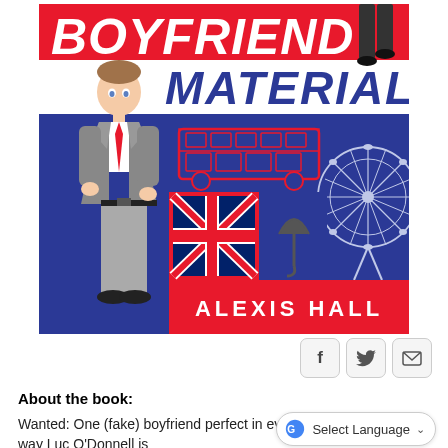[Figure (illustration): Book cover for 'Boyfriend Material' by Alexis Hall. Red, white and blue design featuring an illustrated man in a grey suit with a red tie, London double-decker bus outline, London Eye ferris wheel, Union Jack flag, umbrella, and the title text in bold italic. Author name 'ALEXIS HALL' in white on red band at bottom.]
[Figure (other): Three social sharing buttons: Facebook (f), Twitter (bird), and email (envelope) in rounded square buttons.]
About the book:
Wanted: One (fake) boyfriend perfect in every way Luc O'Donnell is
[Figure (screenshot): Google Translate widget button showing 'G' logo, 'Select Language' text and a dropdown chevron, in a pill-shaped white rounded-rectangle.]